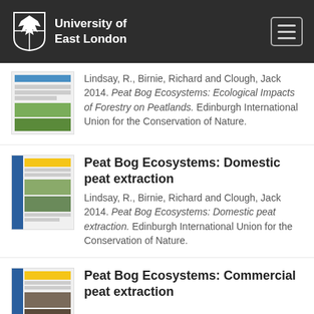University of East London
Lindsay, R., Birnie, Richard and Clough, Jack 2014. Peat Bog Ecosystems: Ecological Impacts of Forestry on Peatlands. Edinburgh International Union for the Conservation of Nature.
Peat Bog Ecosystems: Domestic peat extraction
Lindsay, R., Birnie, Richard and Clough, Jack 2014. Peat Bog Ecosystems: Domestic peat extraction. Edinburgh International Union for the Conservation of Nature.
Peat Bog Ecosystems: Commercial peat extraction